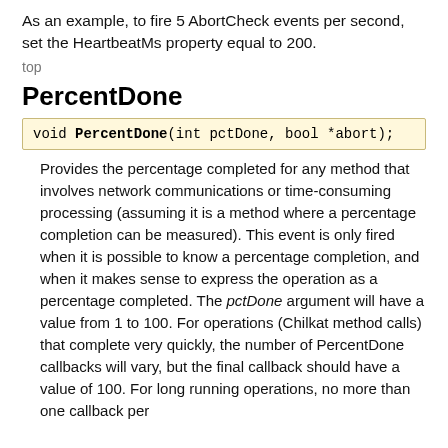As an example, to fire 5 AbortCheck events per second, set the HeartbeatMs property equal to 200.
top
PercentDone
void PercentDone(int pctDone, bool *abort);
Provides the percentage completed for any method that involves network communications or time-consuming processing (assuming it is a method where a percentage completion can be measured). This event is only fired when it is possible to know a percentage completion, and when it makes sense to express the operation as a percentage completed. The pctDone argument will have a value from 1 to 100. For operations (Chilkat method calls) that complete very quickly, the number of PercentDone callbacks will vary, but the final callback should have a value of 100. For long running operations, no more than one callback per